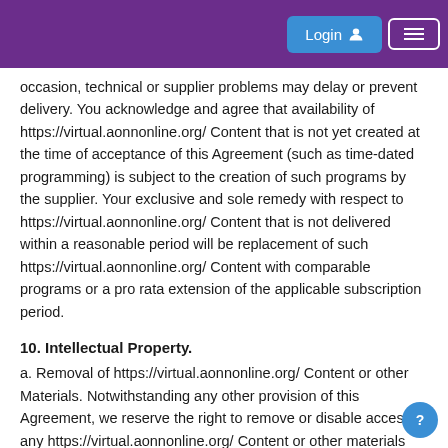Login (navigation bar with menu button)
occasion, technical or supplier problems may delay or prevent delivery. You acknowledge and agree that availability of https://virtual.aonnonline.org/ Content that is not yet created at the time of acceptance of this Agreement (such as time-dated programming) is subject to the creation of such programs by the supplier. Your exclusive and sole remedy with respect to https://virtual.aonnonline.org/ Content that is not delivered within a reasonable period will be replacement of such https://virtual.aonnonline.org/ Content with comparable programs or a pro rata extension of the applicable subscription period.
10. Intellectual Property.
a. Removal of https://virtual.aonnonline.org/ Content or other Materials. Notwithstanding any other provision of this Agreement, we reserve the right to remove or disable access to any https://virtual.aonnonline.org/ Content or other materials comprising a part of the https://virtual.aonnonline.org/ Service that violate or otherwise allegedly infringe on the copyright or other intellectual property or proprietary rights of any person, company or other entity. We will in no event be liable for the good faith removal of disabling of access to any such https://virtual.aonnonline.org/